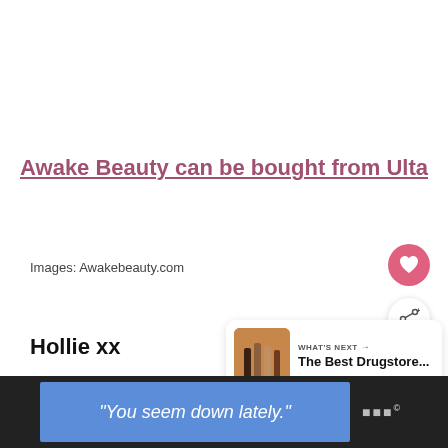Awake Beauty can be bought from Ulta
Images: Awakebeauty.com
Hollie xx
[Figure (infographic): WHAT'S NEXT banner with thumbnail showing drugstore beauty products. Text: The Best Drugstore...]
[Figure (screenshot): Bottom dark bar with blue advertisement reading "You seem down lately." and a logo]